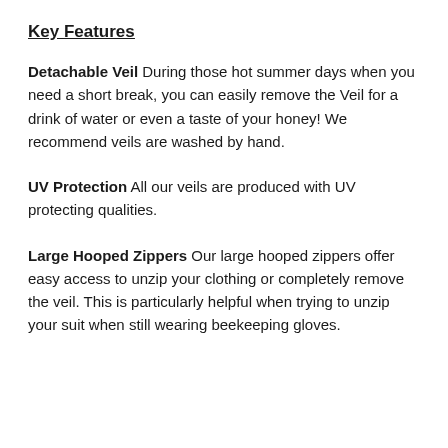Key Features
Detachable Veil During those hot summer days when you need a short break, you can easily remove the Veil for a drink of water or even a taste of your honey! We recommend veils are washed by hand.
UV Protection All our veils are produced with UV protecting qualities.
Large Hooped Zippers Our large hooped zippers offer easy access to unzip your clothing or completely remove the veil. This is particularly helpful when trying to unzip your suit when still wearing beekeeping gloves.